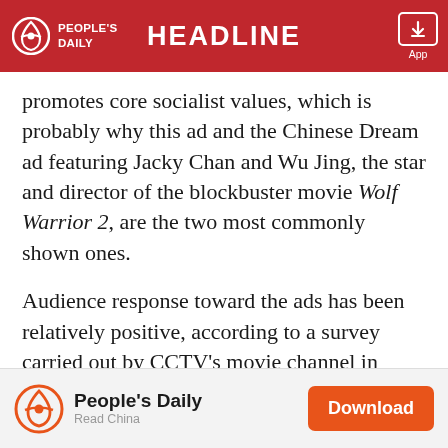PEOPLE'S DAILY | HEADLINE | App
promotes core socialist values, which is probably why this ad and the Chinese Dream ad featuring Jacky Chan and Wu Jing, the star and director of the blockbuster movie Wolf Warrior 2, are the two most commonly shown ones.
Audience response toward the ads has been relatively positive, according to a survey carried out by CCTV's movie channel in early July.
"I think the ads caught my attention due to involvement of young pop stars, such as Zhao Liying, who starred in the latest hit TV drama Princess Agents," one young
People's Daily — Read China — Download